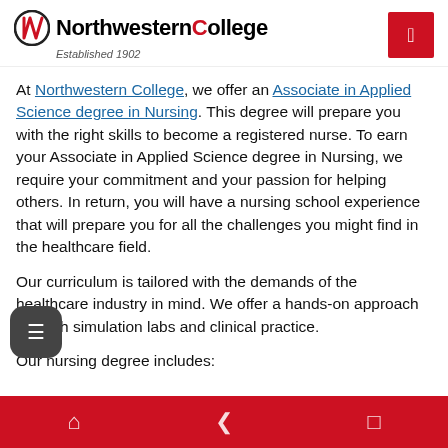Northwestern College — Established 1902
At Northwestern College, we offer an Associate in Applied Science degree in Nursing. This degree will prepare you with the right skills to become a registered nurse. To earn your Associate in Applied Science degree in Nursing, we require your commitment and your passion for helping others. In return, you will have a nursing school experience that will prepare you for all the challenges you might find in the healthcare field.
Our curriculum is tailored with the demands of the healthcare industry in mind. We offer a hands-on approach through simulation labs and clinical practice.
Our nursing degree includes: